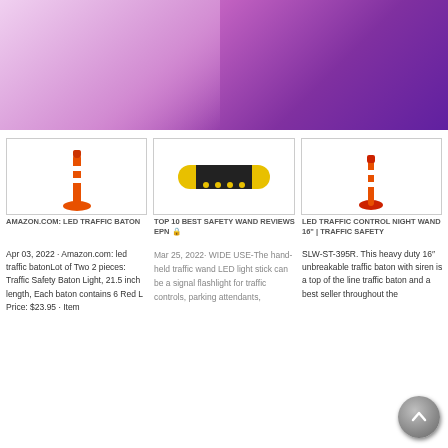[Figure (photo): Purple gradient banner background with lighter pink triangular section on left]
[Figure (photo): Orange and white LED traffic baton/wand standing upright]
AMAZON.COM: LED TRAFFIC BATON
Apr 03, 2022 · Amazon.com: led traffic batonLot of Two 2 pieces: Traffic Safety Baton Light, 21.5 inch length, Each baton contains 6 Red L Price: $23.95 · Item
[Figure (photo): Yellow and black rubber speed bump / safety wand]
TOP 10 BEST SAFETY WAND REVIEWS EPN 🔒
Mar 25, 2022· WIDE USE-The hand-held traffic wand LED light stick can be a signal flashlight for traffic controls, parking attendants,
[Figure (photo): Orange and white LED traffic control night wand on stand]
LED TRAFFIC CONTROL NIGHT WAND 16" | TRAFFIC SAFETY
SLW-ST-395R. This heavy duty 16″ unbreakable traffic baton with siren is a top of the line traffic baton and a best seller throughout the